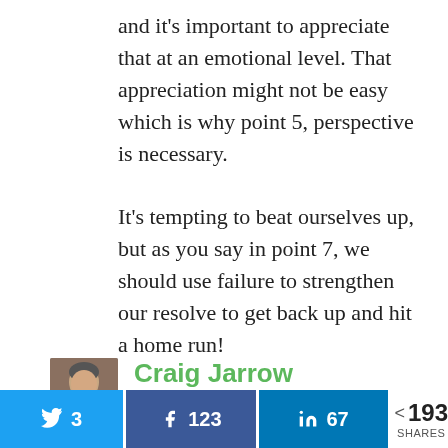and it's important to appreciate that at an emotional level. That appreciation might not be easy which is why point 5, perspective is necessary.
It's tempting to beat ourselves up, but as you say in point 7, we should use failure to strengthen our resolve to get back up and hit a home run!
[Figure (photo): Headshot of Craig Jarrow, a man in his 40s or 50s]
Craig Jarrow
July 8, 2014 at 6:35 AM
I am a big believer in #4. Failing
3
123
67
193 SHARES